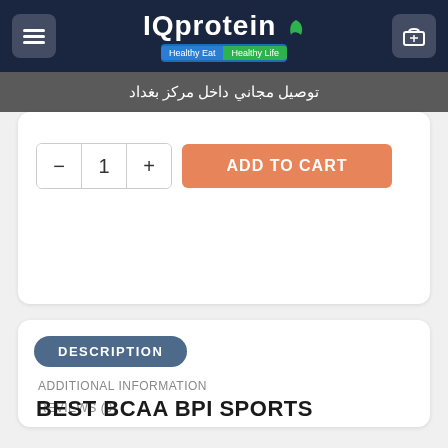IQprotein – Healthy Eat | Healthy Life
توصيل مجاني داخل مركز بغداد
- 1 + ADD TO CART
DESCRIPTION
ADDITIONAL INFORMATION
REVIEWS (0)
BEST BCAA BPI SPORTS